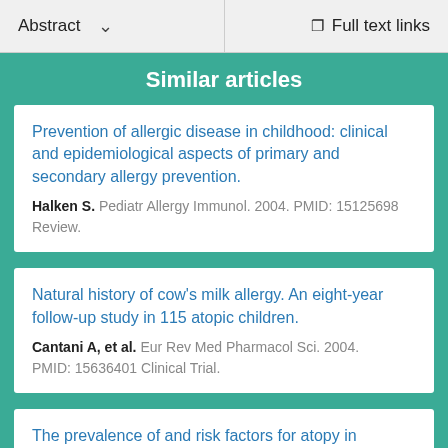Abstract   ˅   Full text links
Similar articles
Prevention of allergic disease in childhood: clinical and epidemiological aspects of primary and secondary allergy prevention.
Halken S. Pediatr Allergy Immunol. 2004. PMID: 15125698
Review.
Natural history of cow's milk allergy. An eight-year follow-up study in 115 atopic children.
Cantani A, et al. Eur Rev Med Pharmacol Sci. 2004.
PMID: 15636401 Clinical Trial.
The prevalence of and risk factors for atopy in